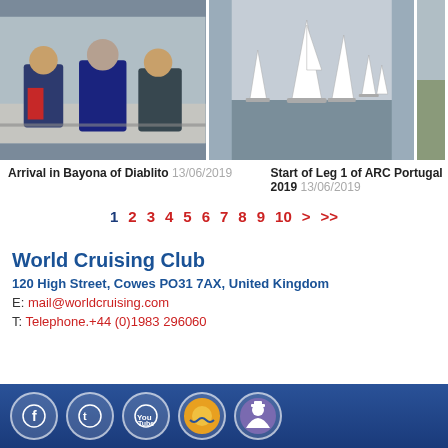[Figure (photo): Three people in sailing gear standing on a boat deck, wearing life jackets and warm clothing.]
[Figure (photo): Multiple sailboats on grey water at the start of a race or leg, overcast sky.]
Arrival in Bayona of Diablito 13/06/2019
Start of Leg 1 of ARC Portugal 2019 13/06/2019
1 2 3 4 5 6 7 8 9 10 > >>
World Cruising Club
120 High Street, Cowes PO31 7AX, United Kingdom
E: mail@worldcruising.com
T: Telephone.+44 (0)1983 296060
[Figure (infographic): Social media footer bar with Facebook, Twitter, YouTube, World Cruising Club logo, and Noonsite icons on a dark blue background.]